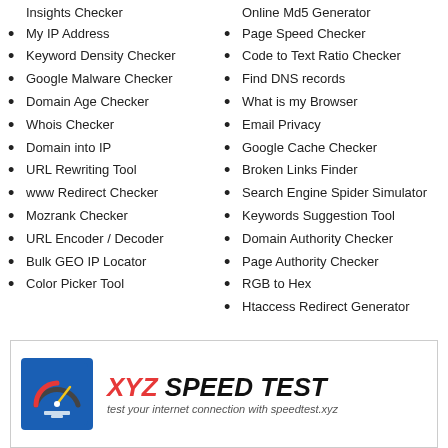Insights Checker
My IP Address
Keyword Density Checker
Google Malware Checker
Domain Age Checker
Whois Checker
Domain into IP
URL Rewriting Tool
www Redirect Checker
Mozrank Checker
URL Encoder / Decoder
Bulk GEO IP Locator
Color Picker Tool
Online Md5 Generator
Page Speed Checker
Code to Text Ratio Checker
Find DNS records
What is my Browser
Email Privacy
Google Cache Checker
Broken Links Finder
Search Engine Spider Simulator
Keywords Suggestion Tool
Domain Authority Checker
Page Authority Checker
RGB to Hex
Htaccess Redirect Generator
[Figure (logo): XYZ Speed Test advertisement banner with speedometer logo and text 'test your internet connection with speedtest.xyz']